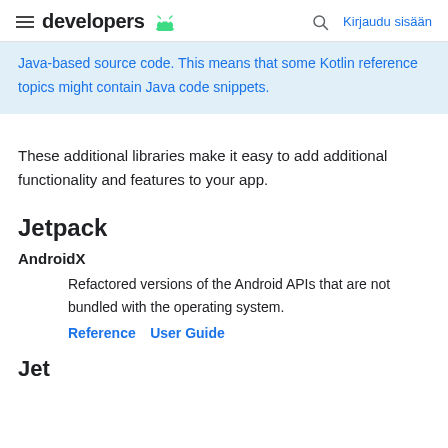developers  Kirjaudu sisään
Java-based source code. This means that some Kotlin reference topics might contain Java code snippets.
These additional libraries make it easy to add additional functionality and features to your app.
Jetpack
AndroidX
Refactored versions of the Android APIs that are not bundled with the operating system.
Reference  User Guide